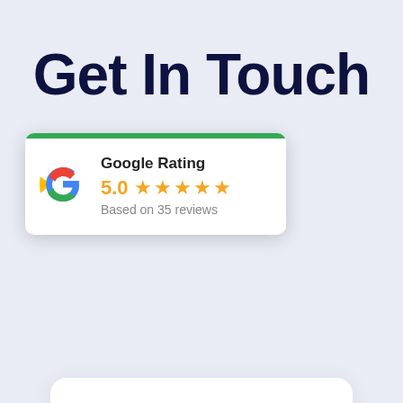Get In Touch
[Figure (screenshot): Web contact form with First Name and Last Name fields on a white card, overlaid by a Google Rating popup showing 5.0 stars based on 35 reviews with a green top bar and Google G logo.]